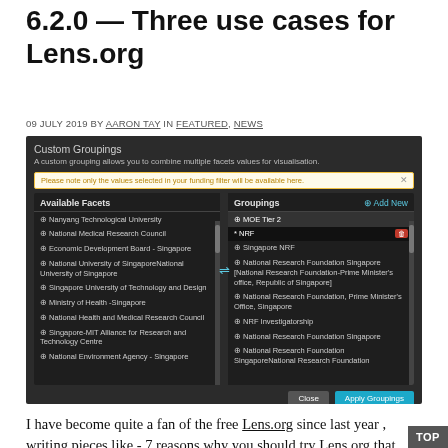6.2.0 — Three use cases for Lens.org
09 JULY 2019 BY AARON TAY IN FEATURED, NEWS
[Figure (screenshot): Screenshot of Lens.org Custom Groupings interface showing Available Facets panel on the left with items like Nanyang Technological University, National Medical Research Council, Economic Development Board - Singapore, National University of Singapore, Singapore University of Technology and Design, Ministry of Health -Singapore, National Health and Medical Research Council, Singapore-MIT Alliance for Research and Technology Centre, National Environment Agency - Singapore; and Groupings panel on the right with MOE Tier 2, NRF selected, Singapore NRF, National Research Foundation Singapore, National Research Foundation Prime Minister's Office Singapore, NRF Investigatorship, National Research Foundation Singapore, National Research Foundation SingaporeNational Research Foundation. Footer has Close and Apply Groupings buttons.]
I have become quite a fan of the free Lens.org since last year , writing pieces like - 7 reasons why you should try Lens.org that talked about the features in Lens that make